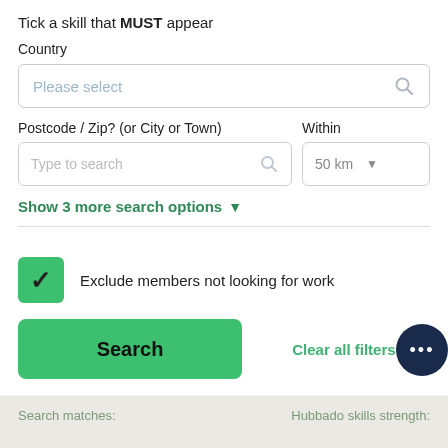Tick a skill that MUST appear
Country
Please select
Postcode / Zip? (or City or Town)
Within
Type to search
50 km
Show 3 more search options
Exclude members not looking for work
Search
Clear all filters X
Search matches:
Hubbado skills strength: